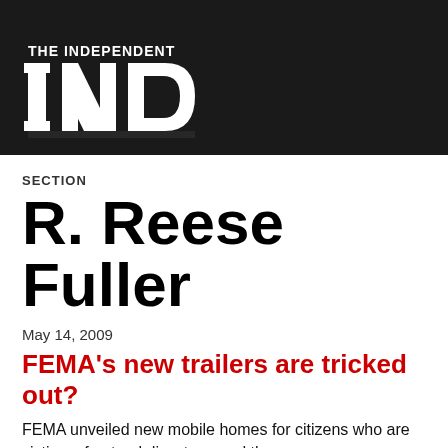[Figure (logo): The Independent newspaper logo — large stylized 'IND' letters in white on dark background with 'THE INDEPENDENT' text below]
SECTION
R. Reese Fuller
May 14, 2009
FEMA's new trailers are tricked out?
FEMA unveiled new mobile homes for citizens who are victims of natural disasters, and the